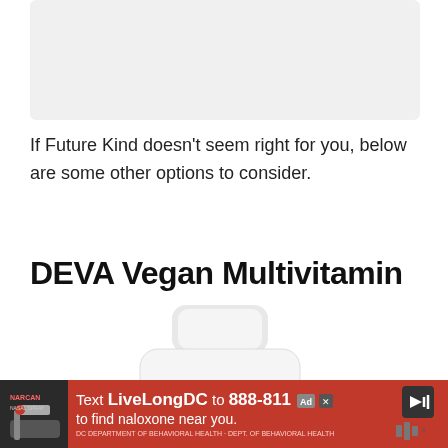[Figure (photo): Placeholder image area at the top of the page, light gray rectangle]
If Future Kind doesn't seem right for you, below are some other options to consider.
DEVA Vegan Multivitamin
[Figure (photo): DEVA Vegan Multivitamin bottle with white cap, orange and green label showing vegetables, iron free label, vegan multivitamin & mineral supplement text]
[Figure (other): Red advertisement banner at bottom: Text LiveLongDC to 888-811 to find naloxone near you. Features syringe image on left, DBH logo and speaker icons on right.]